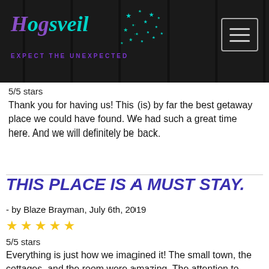[Figure (logo): Hogsveil logo with teal and purple handwritten-style text, scattered star decorations, and tagline EXPECT THE UNEXPECTED in purple on dark wood-plank background]
5/5 stars
Thank you for having us! This (is) by far the best getaway place we could have found. We had such a great time here. And we will definitely be back.
THIS PLACE IS A MUST STAY.
- by Blaze Brayman, July 6th, 2019
5/5 stars
Everything is just how we imagined it! The small town, the cottages, and the room were amazing. The attention to detail is outstanding. Getting to enjoy the sauna and jacuzzi while